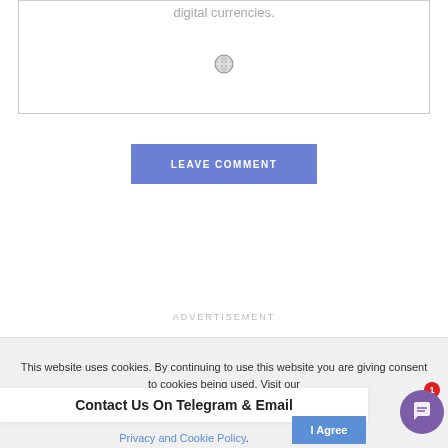digital currencies.
[Figure (illustration): Globe icon, gray, centered in text input area]
LEAVE COMMENT
ADVERTISEMENT
This website uses cookies. By continuing to use this website you are giving consent to cookies being used. Visit our Privacy and Cookie Policy.
Contact Us On Telegram & Email
Privacy and Cookie Policy.
I Agree